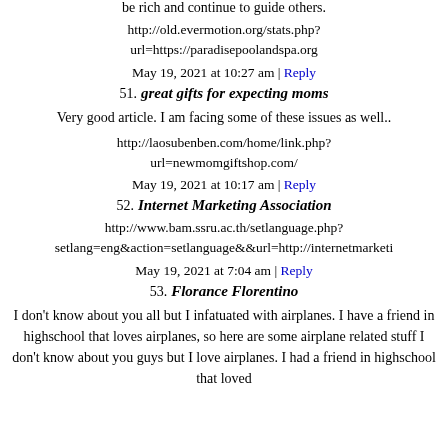be rich and continue to guide others.
http://old.evermotion.org/stats.php?url=https://paradisepoolandspa.org
May 19, 2021 at 10:27 am | Reply
51. great gifts for expecting moms
Very good article. I am facing some of these issues as well..
http://laosubenben.com/home/link.php?url=newmomgiftshop.com/
May 19, 2021 at 10:17 am | Reply
52. Internet Marketing Association
http://www.bam.ssru.ac.th/setlanguage.php?setlang=eng&action=setlanguage&&url=http://internetmarketi
May 19, 2021 at 7:04 am | Reply
53. Florance Florentino
I don't know about you all but I infatuated with airplanes. I have a friend in highschool that loves airplanes, so here are some airplane related stuff I don't know about you guys but I love airplanes. I had a friend in highschool that loved